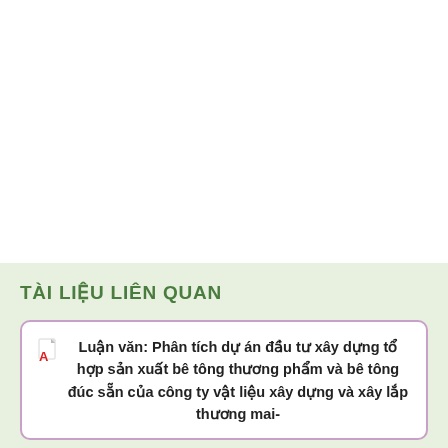TÀI LIỆU LIÊN QUAN
Luận văn: Phân tích dự án đầu tư xây dựng tổ hợp sản xuất bê tông thương phẩm và bê tông đúc sẵn của công ty vật liệu xây dựng và xây lắp thương mai-